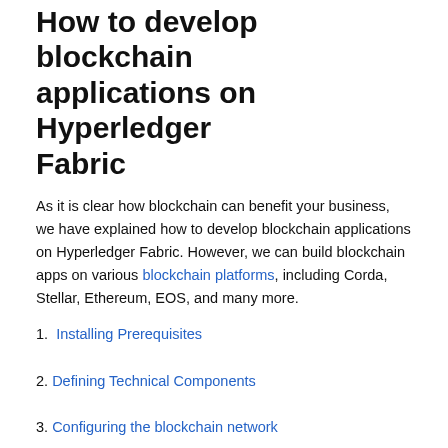How to develop blockchain applications on Hyperledger Fabric
As it is clear how blockchain can benefit your business, we have explained how to develop blockchain applications on Hyperledger Fabric. However, we can build blockchain apps on various blockchain platforms, including Corda, Stellar, Ethereum, EOS, and many more.
1. Installing Prerequisites
2. Defining Technical Components
3. Configuring the blockchain network
4. Deploying the Blockchain Network in Kubernetes